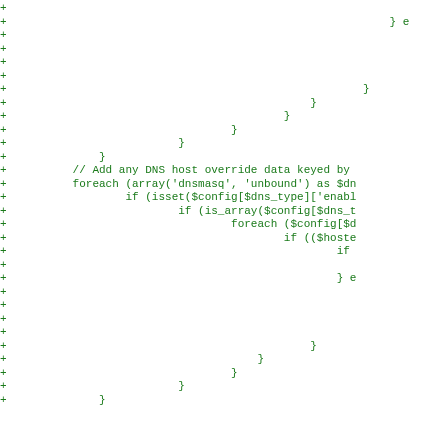A code diff showing PHP code additions with closing braces and DNS host override logic using foreach loops and nested if statements